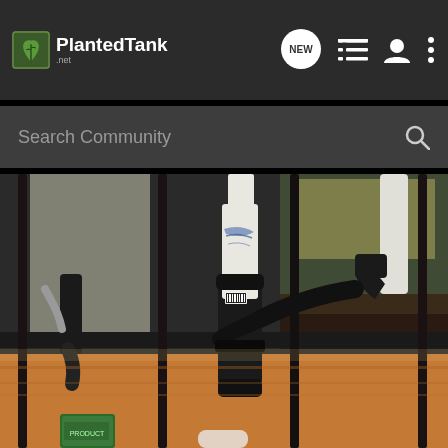PlantedTank — navigation header with logo, NEW chat button, list icon, profile icon, more options icon
Search Community
[Figure (photo): Close-up photo of aquarium equipment behind metal stand bars. Shows PVC pipes wrapped in black connectors/fittings, one pipe wrapped in white material with blue markings, black tubing and fittings, substrate/gravel visible at bottom, wooden stand structure, and a small green package visible at bottom left. Taken from behind the metal frame bars of a planted tank stand.]